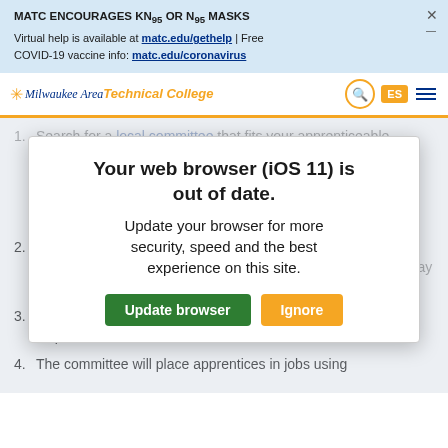MATC ENCOURAGES KN95 OR N95 MASKS
Virtual help is available at matc.edu/gethelp | Free
COVID-19 vaccine info: matc.edu/coronavirus
[Figure (screenshot): Milwaukee Area Technical College navigation bar with logo, search icon, ES language button, and hamburger menu]
[Figure (screenshot): Modal dialog: 'Your web browser (iOS 11) is out of date. Update your browser for more security, speed and the best experience on this site.' with 'Update browser' (green) and 'Ignore' (orange) buttons]
1. Search for a local committee that fits your apprenticeable occupation.
2. Apply directly to the local committee by visiting their website, satisfy the committee's minimum entry requirements, which may include an aptitude test, interview, and more.
3. The committee will notify qualified applicants as to the next steps.
4. The committee will place apprentices in jobs using...